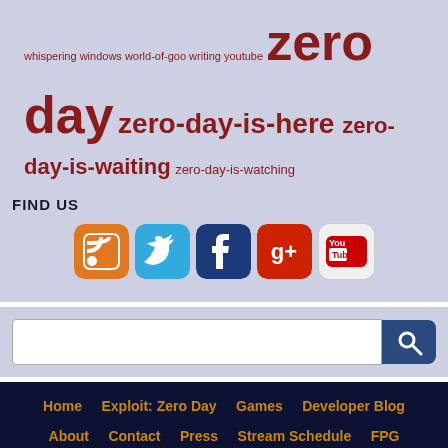whispering windows world-of-goo writing youtube zero day zero-day-is-here zero-day-is-waiting zero-day-is-watching
FIND US
[Figure (other): Social media icons: RSS feed (orange), Twitter (blue), Facebook (dark blue), Google+ (red), YouTube (white/red)]
[Figure (other): Search bar with text input and blue search button with magnifying glass icon]
Home   Exploit: Zero Day   Games   Developer Blog   About   Contact   Press   Stream Schedule   FPG   Newsletter   Privacy Policy
[Figure (other): Bottom social media icons: Twitter (blue), Facebook (dark blue), Google+ (red), YouTube (white/red)]